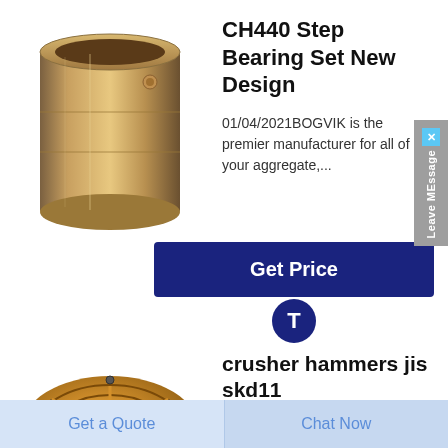[Figure (photo): Cylindrical bronze/brass step bearing component for CH440 crusher, metallic finish]
CH440 Step Bearing Set New Design
01/04/2021BOGVIK is the premier manufacturer for all of your aggregate,...
[Figure (screenshot): Get Price button in dark navy blue, with a circular T icon below it]
[Figure (photo): Round bronze/copper crusher wear part disc with concentric rings and cross-bar pattern, viewed from above]
crusher hammers jis skd11
Quality Crusher Wear Parts manufacturers
Get a Quote
Chat Now